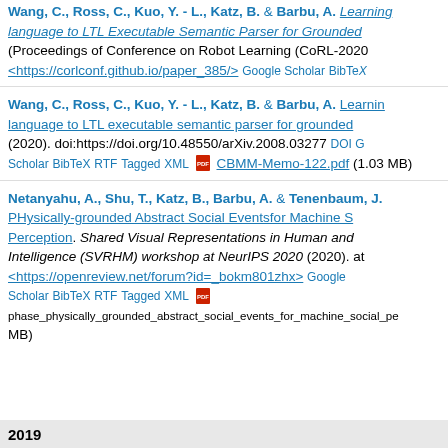Wang, C., Ross, C., Kuo, Y. - L., Katz, B. & Barbu, A. Learning language to LTL Executable Semantic Parser for Grounded (Proceedings of Conference on Robot Learning (CoRL-2020 <https://corlconf.github.io/paper_385/> Google Scholar BibTeX
Wang, C., Ross, C., Kuo, Y. - L., Katz, B. & Barbu, A. Learning language to LTL executable semantic parser for grounded (2020). doi:https://doi.org/10.48550/arXiv.2008.03277 DOI Google Scholar BibTeX RTF Tagged XML CBMM-Memo-122.pdf (1.03 MB)
Netanyahu, A., Shu, T., Katz, B., Barbu, A. & Tenenbaum, J. PHysically-grounded Abstract Social Eventsfor Machine Social Perception. Shared Visual Representations in Human and Machine Intelligence (SVRHM) workshop at NeurIPS 2020 (2020). at <https://openreview.net/forum?id=_bokm801zhx> Google Scholar BibTeX RTF Tagged XML phase_physically_grounded_abstract_social_events_for_machine_social_pe MB)
2019